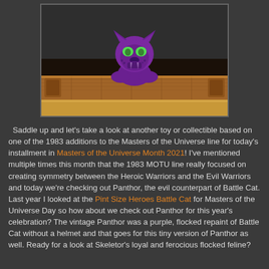[Figure (photo): A purple flocked Panthor Pint Size Heroes toy figure sitting on a wooden shelf display, photographed against a dark background. The figure has a menacing face with green eyes and fangs.]
Saddle up and let's take a look at another toy or collectible based on one of the 1983 additions to the Masters of the Universe line for today's installment in Masters of the Universe Month 2021! I've mentioned multiple times this month that the 1983 MOTU line really focused on creating symmetry between the Heroic Warriors and the Evil Warriors and today we're checking out Panthor, the evil counterpart of Battle Cat. Last year I looked at the Pint Size Heroes Battle Cat for Masters of the Universe Day so how about we check out Panthor for this year's celebration? The vintage Panthor was a purple, flocked repaint of Battle Cat without a helmet and that goes for this tiny version of Panthor as well. Ready for a look at Skeletor's loyal and ferocious flocked feline?